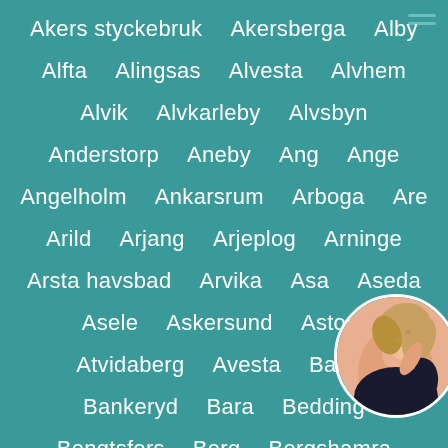Akers styckebruk
Akersberga
Alby
Alfta
Alingsas
Alvesta
Alvhem
Alvik
Alvkarleby
Alvsbyn
Anderstorp
Aneby
Ang
Ange
Angelholm
Ankarsrum
Arboga
Are
Arild
Arjang
Arjeplog
Arninge
Arsta havsbad
Arvika
Asa
Aseda
Asele
Askersund
Astorp
Atvidaberg
Avesta
Backe
Bankeryd
Bara
Bedding
Bengtsfors
Berg
Bergshamra
[Figure (photo): Circular avatar photo of a woman with blonde curly hair, wearing a black outfit, looking upward, partially overlapping the bottom-right of the list.]